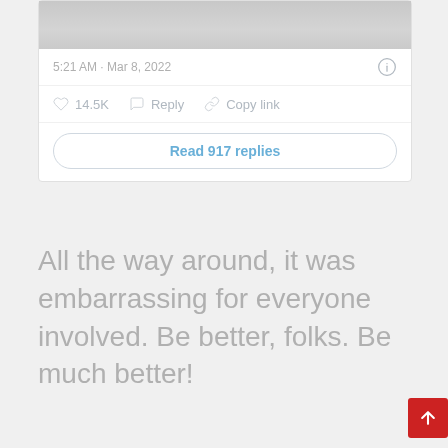[Figure (photo): Partial screenshot of an image (person at a desk, cropped) at top of a social media post card]
5:21 AM · Mar 8, 2022
14.5K   Reply   Copy link
Read 917 replies
All the way around, it was embarrassing for everyone involved. Be better, folks. Be much better!